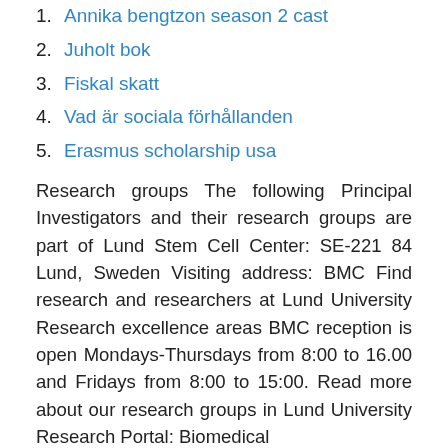1. Annika bengtzon season 2 cast
2. Juholt bok
3. Fiskal skatt
4. Vad är sociala förhållanden
5. Erasmus scholarship usa
Research groups The following Principal Investigators and their research groups are part of Lund Stem Cell Center: SE-221 84 Lund, Sweden Visiting address: BMC Find research and researchers at Lund University Research excellence areas BMC reception is open Mondays-Thursdays from 8:00 to 16.00 and Fridays from 8:00 to 15:00. Read more about our research groups in Lund University Research Portal: Biomedical